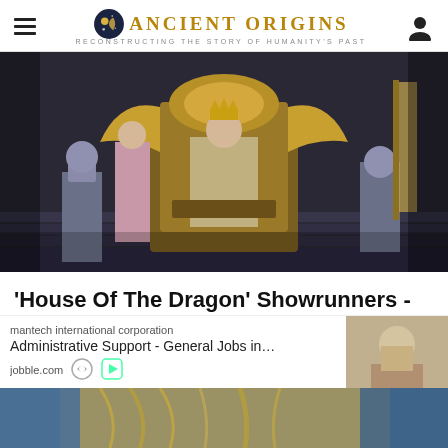Ancient Origins — Reconstructing the Story of Humanity's Past
[Figure (photo): Scene from House of the Dragon showing a king seated on a large golden throne, flanked by armored knights and courtiers in medieval fantasy costumes, on stone steps in a throne room.]
'House Of The Dragon' Showrunners - They Are The Only Survivors
Shadow and Act
[Figure (screenshot): Advertisement bar showing 'mantech international corporation' and 'Administrative Support - General Jobs in...' with jobble.com domain, alongside a small thumbnail image of a person, with ad indicator icons.]
[Figure (photo): Partial preview image showing a person with blonde/white hair against a blue background, cropped at the bottom of the page.]